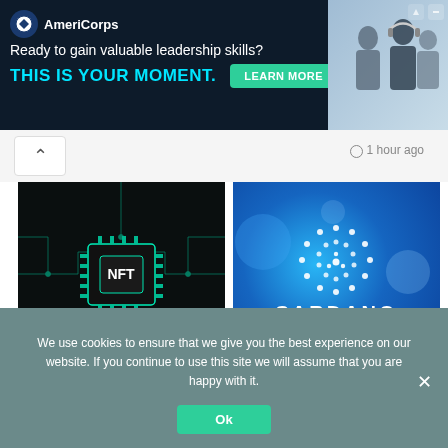[Figure (screenshot): AmeriCorps advertisement banner: dark navy background, AmeriCorps logo, text 'Ready to gain valuable leadership skills? THIS IS YOUR MOMENT.' with teal CTA button 'LEARN MORE' and photo of people on right]
1 hour ago
[Figure (photo): NFT chip circuit board image on dark background with glowing teal circuits and NFT label in center]
[Figure (photo): Cardano blue gradient background with white Cardano logo and CARDANO text]
Meet 5 Indian startups using NFT tech in innovative ways
2 hours ago
Cardano unveils its NFT marketplace
3 hours ago
We use cookies to ensure that we give you the best experience on our website. If you continue to use this site we will assume that you are happy with it.